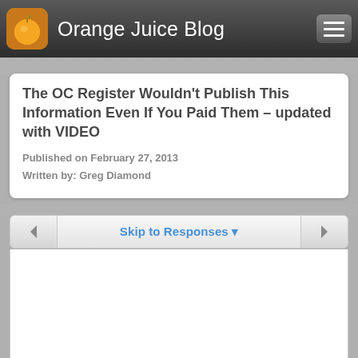Orange Juice Blog
The OC Register Wouldn't Publish This Information Even If You Paid Them – updated with VIDEO
Published on February 27, 2013
Written by: Greg Diamond
Skip to Responses ▼